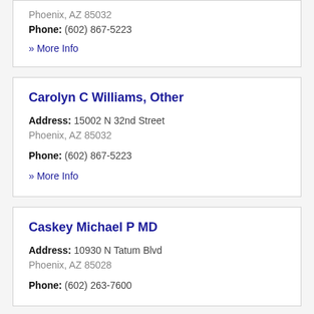Phoenix, AZ 85032
Phone: (602) 867-5223
» More Info
Carolyn C Williams, Other
Address: 15002 N 32nd Street
Phoenix, AZ 85032
Phone: (602) 867-5223
» More Info
Caskey Michael P MD
Address: 10930 N Tatum Blvd
Phoenix, AZ 85028
Phone: (602) 263-7600